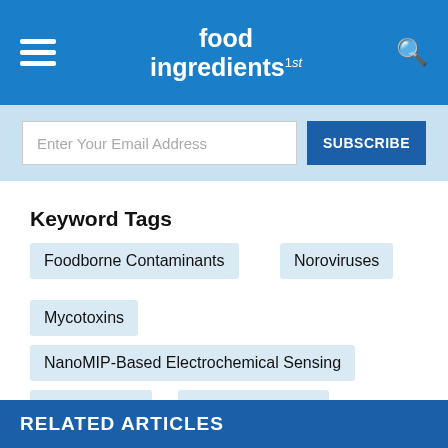food ingredients 1st
Enter Your Email Address  SUBSCRIBE
Keyword Tags
Foodborne Contaminants
Noroviruses
Mycotoxins
NanoMIP-Based Electrochemical Sensing
Food Science
Foodborne Illness
Newcastle University's School of Engineering
UMass Amherst
RELATED ARTICLES